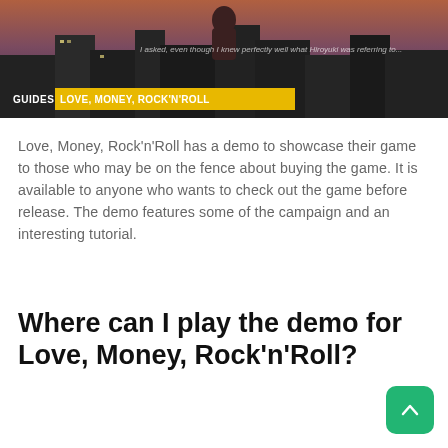[Figure (screenshot): Banner image from a gaming website showing a scene from Love, Money, Rock'n'Roll. A yellow 'GUIDES | LOVE, MONEY, ROCK'N'ROLL' label bar overlays the bottom of the image.]
Love, Money, Rock'n'Roll has a demo to showcase their game to those who may be on the fence about buying the game. It is available to anyone who wants to check out the game before release. The demo features some of the campaign and an interesting tutorial.
Where can I play the demo for Love, Money, Rock'n'Roll?
The demo for Love, Money, Rock'n'Roll can be found on its Steam page. Look a bit below the images to see the demo. It is about 975 MB and is worth trying if you're thinking about getting the game.